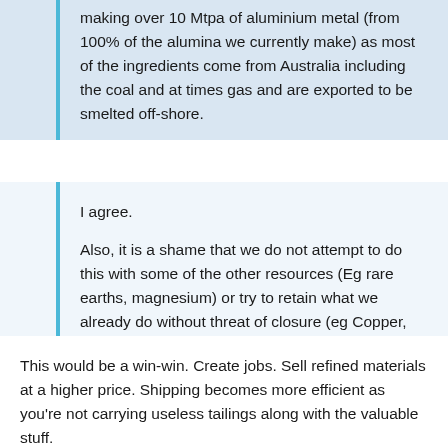making over 10 Mtpa of aluminium metal (from 100% of the alumina we currently make) as most of the ingredients come from Australia including the coal and at times gas and are exported to be smelted off-shore.
I agree.
Also, it is a shame that we do not attempt to do this with some of the other resources (Eg rare earths, magnesium) or try to retain what we already do without threat of closure (eg Copper, Nickel)
— Big J
This would be a win-win. Create jobs. Sell refined materials at a higher price. Shipping becomes more efficient as you're not carrying useless tailings along with the valuable stuff.